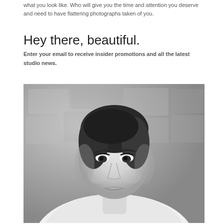what you look like. Who will give you the time and attention you deserve and need to have flattering photographs taken of you.
Hey there, beautiful.
Enter your email to receive insider promotions and all the latest studio news.
[Figure (photo): Black and white portrait photograph of a woman with short dark hair, resembling classic Hollywood style, photographed against a stone wall background, looking at camera with a slight smile, wearing a white top.]